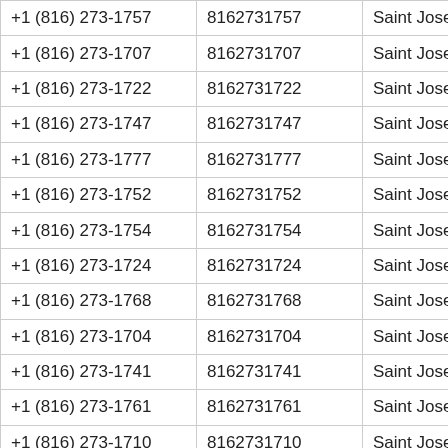| +1 (816) 273-1757 | 8162731757 | Saint Joseph | MO |
| +1 (816) 273-1707 | 8162731707 | Saint Joseph | MO |
| +1 (816) 273-1722 | 8162731722 | Saint Joseph | MO |
| +1 (816) 273-1747 | 8162731747 | Saint Joseph | MO |
| +1 (816) 273-1777 | 8162731777 | Saint Joseph | MO |
| +1 (816) 273-1752 | 8162731752 | Saint Joseph | MO |
| +1 (816) 273-1754 | 8162731754 | Saint Joseph | MO |
| +1 (816) 273-1724 | 8162731724 | Saint Joseph | MO |
| +1 (816) 273-1768 | 8162731768 | Saint Joseph | MO |
| +1 (816) 273-1704 | 8162731704 | Saint Joseph | MO |
| +1 (816) 273-1741 | 8162731741 | Saint Joseph | MO |
| +1 (816) 273-1761 | 8162731761 | Saint Joseph | MO |
| +1 (816) 273-1710 | 8162731710 | Saint Joseph | MO |